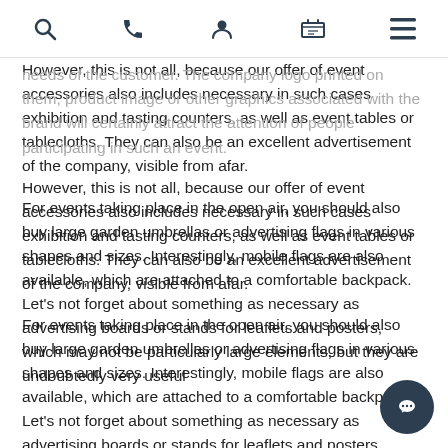[navigation icons: search, phone, user, cart, menu]
needs of the customer. The company logo printed on them, product image or other graphics associated with the brand will certainly attract the attention of people participating in such an event.
However, this is not all, because our offer of event accessories also includes necessary in such cases exhibition and tasting counters, as well as event tables or tablecloths. They can also be an excellent advertisement of the company, visible from afar.
For events taking place in the open air, you should also buy large garden umbrellas or advertising flags in various shapes and sizes. Interestingly, mobile flags are also available, which are attached to a comfortable backpack. Let's not forget about something as necessary as advertising boards or stands for leaflets and posters, which may not be particularly large elements, but they are undoubtedly very useful